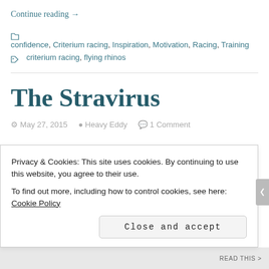Continue reading →
confidence, Criterium racing, Inspiration, Motivation, Racing, Training
criterium racing, flying rhinos
The Stravirus
May 27, 2015  •  Heavy Eddy  •  1 Comment
Privacy & Cookies: This site uses cookies. By continuing to use this website, you agree to their use.
To find out more, including how to control cookies, see here: Cookie Policy
Close and accept